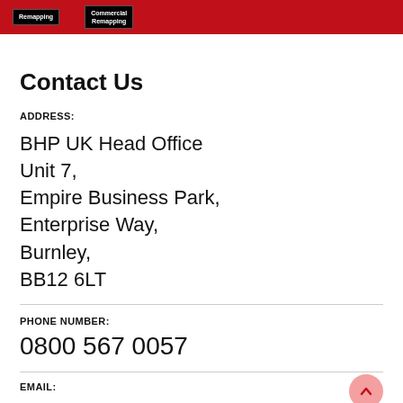[Figure (logo): Red header bar with two black logo boxes labeled 'Remapping' and 'Commercial Remapping']
Contact Us
ADDRESS:
BHP UK Head Office
Unit 7,
Empire Business Park,
Enterprise Way,
Burnley,
BB12 6LT
PHONE NUMBER:
0800 567 0057
EMAIL: